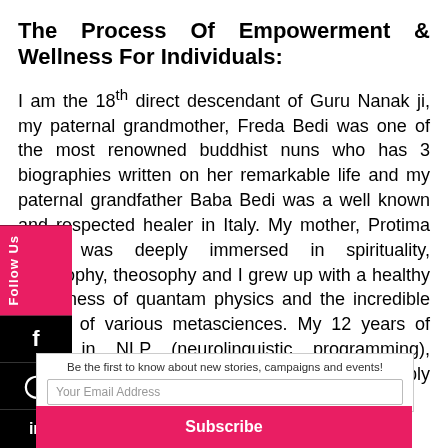The Process Of Empowerment & Wellness For Individuals:
I am the 18th direct descendant of Guru Nanak ji, my paternal grandmother, Freda Bedi was one of the most renowned buddhist nuns who has 3 biographies written on her remarkable life and my paternal grandfather Baba Bedi was a well known and respected healer in Italy. My mother, Protima Bedi, was deeply immersed in spirituality, philosophy, theosophy and I grew up with a healthy awareness of quantam physics and the incredible worlds of various metasciences. My 12 years of study in NLP (neurolinguistic programming), Clinical & spiritual hypnosis, Reiki, deeply resonated with an understanding of human